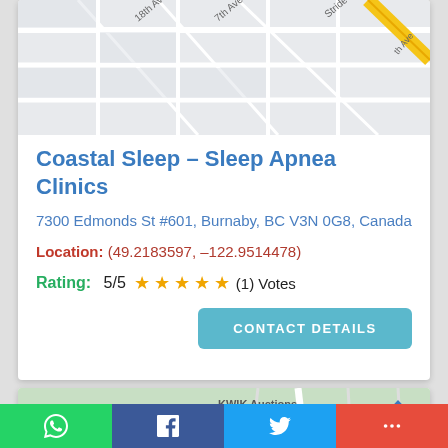[Figure (map): Street map showing area near 18th Ave and Stride Ave, Burnaby BC, with road grid and yellow highlighted road]
Coastal Sleep – Sleep Apnea Clinics
7300 Edmonds St #601, Burnaby, BC V3N 0G8, Canada
Location: (49.2183597, –122.9514478)
Rating: 5/5 ★★★★★ (1) Votes
[Figure (map): Street map showing Marine Way, Byrne Rd, Riverway area in Burnaby BC with green park area, blue water feature, and yellow highlighted road. Kwik Auctions label visible.]